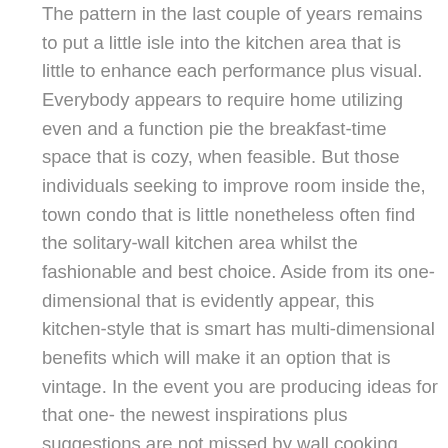The pattern in the last couple of years remains to put a little isle into the kitchen area that is little to enhance each performance plus visual. Everybody appears to require home utilizing even and a function pie the breakfast-time space that is cozy, when feasible. But those individuals seeking to improve room inside the, town condo that is little nonetheless often find the solitary-wall kitchen area whilst the fashionable and best choice. Aside from its one-dimensional that is evidently appear, this kitchen-style that is smart has multi-dimensional benefits which will make it an option that is vintage. In the event you are producing ideas for that one- the newest inspirations plus suggestions are not missed by wall cooking area, subsequently usually beneath.